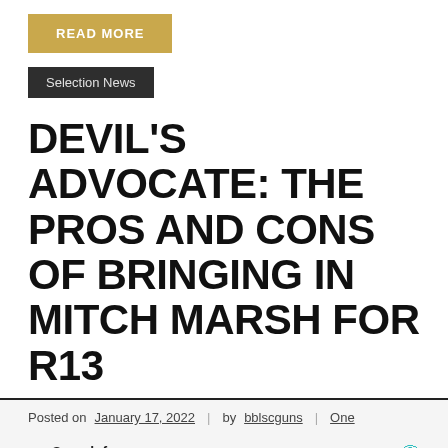READ MORE
Selection News
DEVIL'S ADVOCATE: THE PROS AND CONS OF BRINGING IN MITCH MARSH FOR R13
Posted on January 17, 2022 | by bblscguns | One
Search for
01. Online NFL Schedules
02. Dallas Cowboys Jerseys
Yahoo! Search | Sponsored